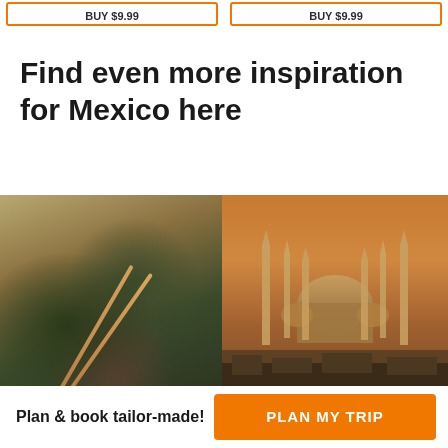BUY $9.99
BUY $9.99
Find even more inspiration for Mexico here
[Figure (photo): Close-up photo of Japanese food items (dark round pieces) with chopsticks on a wooden tray]
[Figure (photo): Photo of a large mosque (Blue Mosque / Sultan Ahmed Mosque in Istanbul) at sunset with golden sky and minarets]
Plan & book tailor-made!
PLAN MY TRIP